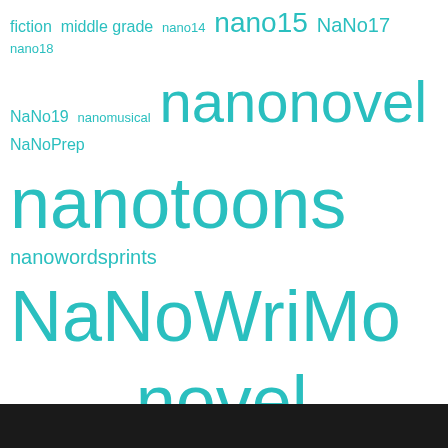[Figure (infographic): Tag cloud with teal/cyan colored tags of varying sizes representing blog or writing-related topics: fiction, middle grade, nano14, nano15, NaNo17, nano18, NaNo19, nanomusical, nanonovel, NaNoPrep, nanotoons, nanowordsprints, NaNoWriMo, Netgalley, novel, Outcast, outline, Pithea, plan, Preptober, Protector, Publishing, Pursuit of Power, reader, reading, revision, romance, science fiction, self-publishing, series, TCSTB, The Seeger Book, Vin, writing practice, writing prompt, YA]